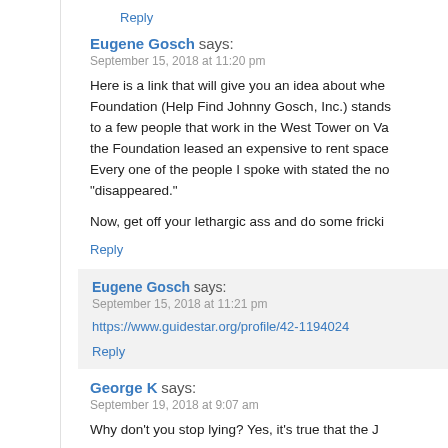Reply
Eugene Gosch says:
September 15, 2018 at 11:20 pm
Here is a link that will give you an idea about whe... Foundation (Help Find Johnny Gosch, Inc.) stands... to a few people that work in the West Tower on Va... the Foundation leased an expensive to rent space... Every one of the people I spoke with stated the no... "disappeared."
Now, get off your lethargic ass and do some frickin...
Reply
Eugene Gosch says:
September 15, 2018 at 11:21 pm
https://www.guidestar.org/profile/42-1194024
Reply
George K says:
September 19, 2018 at 9:07 am
Why don't you stop lying? Yes, it's true that the JG...